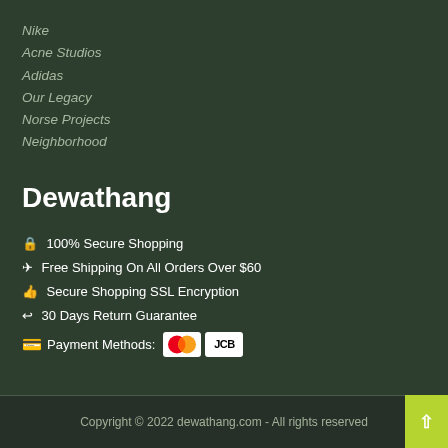Nike
Acne Studios
Adidas
Our Legacy
Norse Projects
Neighborhood
Dewathang
🔒 100% Secure Shopping
✈ Free Shipping On All Orders Over $60
👍 Secure Shopping SSL Encryption
↩ 30 Days Return Guarantee
💳 Payment Methods: [Mastercard] [JCB]
Copyright © 2022 dewathang.com - All rights reserved